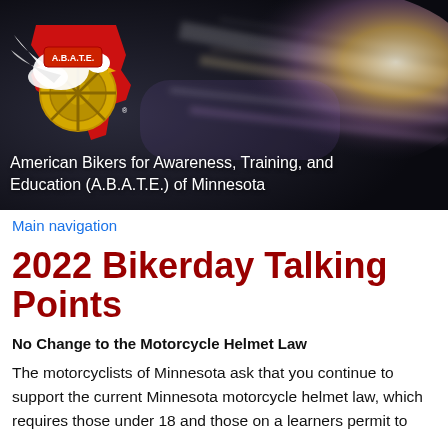[Figure (photo): Website header banner for A.B.A.T.E. of Minnesota showing a blurred motion background of light streaks with the A.B.A.T.E. logo (eagle with motorcycle wheel on red Minnesota state silhouette) on the left, and white text reading 'American Bikers for Awareness, Training, and Education (A.B.A.T.E.) of Minnesota']
Main navigation
2022 Bikerday Talking Points
No Change to the Motorcycle Helmet Law
The motorcyclists of Minnesota ask that you continue to support the current Minnesota motorcycle helmet law, which requires those under 18 and those on a learners permit to